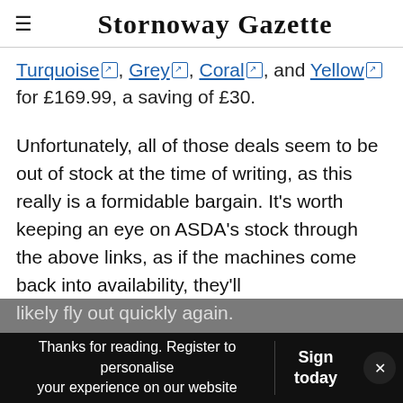Stornoway Gazette
Turquoise, Grey, Coral, and Yellow for £169.99, a saving of £30.
Unfortunately, all of those deals seem to be out of stock at the time of writing, as this really is a formidable bargain. It's worth keeping an eye on ASDA's stock through the above links, as if the machines come back into availability, they'll likely fly out quickly again.
Thanks for reading. Register to personalise your experience on our website | Sign today